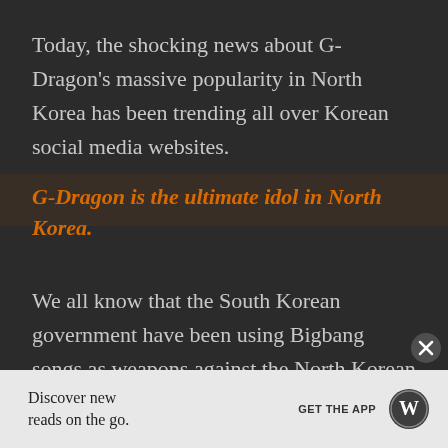Today, the shocking news about G-Dragon's massive popularity in North Korea has been trending all over Korean social media websites.
G-Dragon is the ultimate idol in North Korea.
We all know that the South Korean government have been using Bigbang songs as weapons against the North Korean government. CNN even captioned Bigbang as South Korea's secret weapon against the North.
[Figure (other): Advertisement banner: Discover new reads on the go. GET THE APP with WordPress logo.]